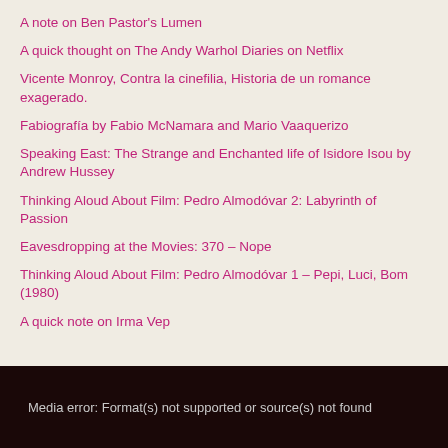A note on Ben Pastor’s Lumen
A quick thought on The Andy Warhol Diaries on Netflix
Vicente Monroy, Contra la cinefilia, Historia de un romance exagerado.
Fabiografía by Fabio McNamara and Mario Vaaquerizo
Speaking East: The Strange and Enchanted life of Isidore Isou by Andrew Hussey
Thinking Aloud About Film: Pedro Almodóvar 2: Labyrinth of Passion
Eavesdropping at the Movies: 370 – Nope
Thinking Aloud About Film: Pedro Almodóvar 1 – Pepi, Luci, Bom (1980)
A quick note on Irma Vep
Media error: Format(s) not supported or source(s) not found